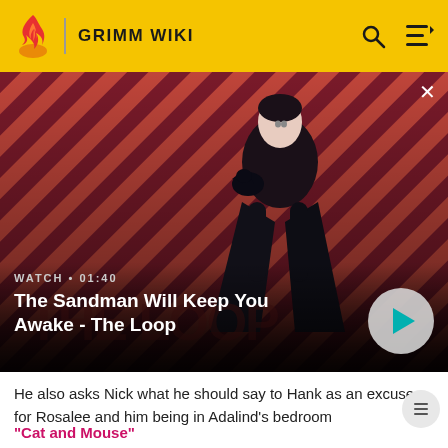GRIMM WIKI
[Figure (screenshot): Dark-themed promotional image for 'The Sandman Will Keep You Awake - The Loop' showing a pale man in dark clothing with a raven on his shoulder, against a red and dark diagonal striped background. Overlaid with WATCH • 01:40 label and video title, plus a circular play button on the right.]
He also asks Nick what he should say to Hank as an excuse for Rosalee and him being in Adalind's bedroom
"Cat and Mouse"
Monroe convinces Rosalee and Ian Harmon that they will need Nick's help, and with Rosalee alibis Ian for the death